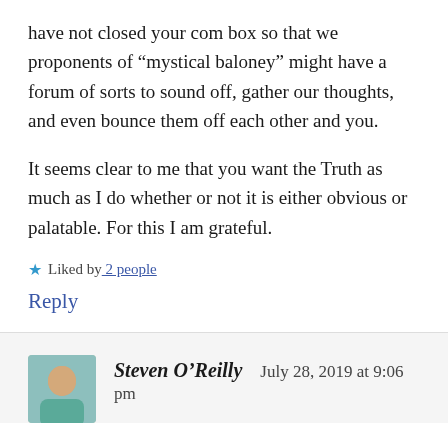have not closed your com box so that we proponents of “mystical baloney” might have a forum of sorts to sound off, gather our thoughts, and even bounce them off each other and you.
It seems clear to me that you want the Truth as much as I do whether or not it is either obvious or palatable. For this I am grateful.
★ Liked by 2 people
Reply
Steven O’Reilly   July 28, 2019 at 9:06 pm